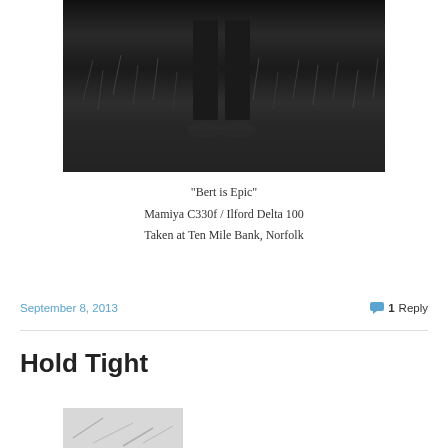[Figure (photo): Black and white photograph showing lower body/legs of a person standing in grass, taken with Mamiya C330f / Ilford Delta 100 film at Ten Mile Bank, Norfolk]
“Bert is Epic”
Mamiya C330f / Ilford Delta 100
Taken at Ten Mile Bank, Norfolk
September 8, 2013
1 Reply
Hold Tight
[Figure (photo): Partial view of another black and white photograph at the bottom of the page]